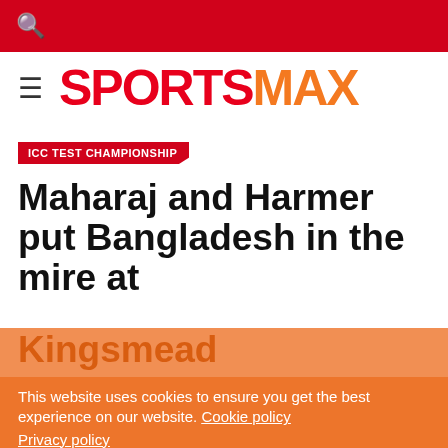SPORTSMAX
ICC TEST CHAMPIONSHIP
Maharaj and Harmer put Bangladesh in the mire at Kingsmead
This website uses cookies to ensure you get the best experience on our website. Cookie policy Privacy policy
Decline | Allow cookies